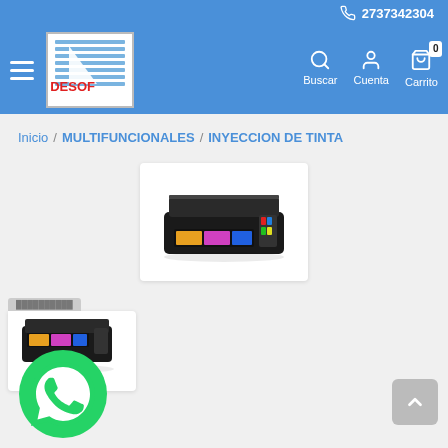2737342304
[Figure (logo): DESOF logo with blue stripes and sailboat]
Buscar Cuenta Carrito 0
Inicio / MULTIFUNCIONALES / INYECCION DE TINTA
[Figure (photo): Black Epson inkjet multifunction printer on white card background]
[Figure (photo): Black Epson inkjet multifunction printer partially visible with WhatsApp icon overlay]
[Figure (illustration): Green WhatsApp logo circle icon]